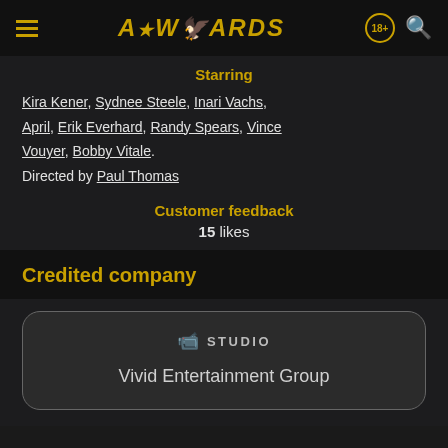AWARDS
Starring
Kira Kener, Sydnee Steele, Inari Vachs, April, Erik Everhard, Randy Spears, Vince Vouyer, Bobby Vitale. Directed by Paul Thomas
Customer feedback
15 likes
Credited company
STUDIO
Vivid Entertainment Group